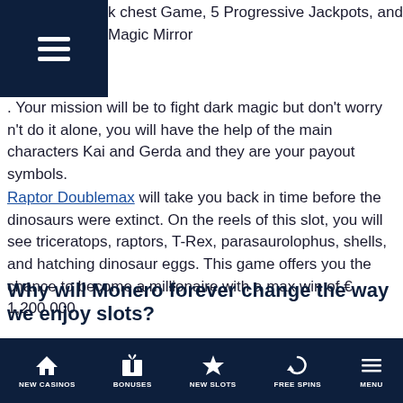Navigation menu icon
k chest Game, 5 Progressive Jackpots, and Magic Mirror. Your mission will be to fight dark magic but don't worry n't do it alone, you will have the help of the main characters Kai and Gerda and they are your payout symbols.
Raptor Doublemax will take you back in time before the dinosaurs were extinct. On the reels of this slot, you will see triceratops, raptors, T-Rex, parasaurolophus, shells, and hatching dinosaur eggs. This game offers you the chance to become a millionaire with a max win of € 1,200,000.
Why will Monero forever change the way we enjoy slots?
When in the right hands, technology only makes our life easier and better. Monero will change the way we enjoy slots in a good way. Because now gamblers have more privacy and their banking data is shared with no one. With Monero, gamblers have the possibility to withdraw their wins without losing any
NEW CASINOS | BONUSES | NEW SLOTS | FREE SPINS | MENU